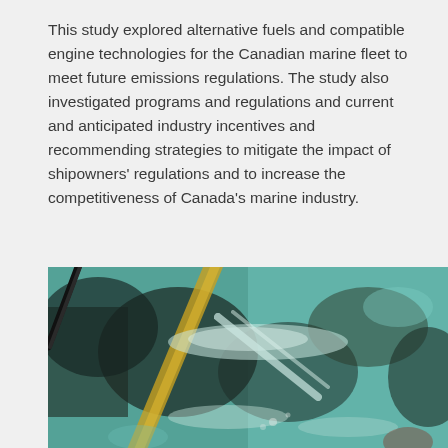This study explored alternative fuels and compatible engine technologies for the Canadian marine fleet to meet future emissions regulations. The study also investigated programs and regulations and current and anticipated industry incentives and recommending strategies to mitigate the impact of shipowners' regulations and to increase the competitiveness of Canada's marine industry.
[Figure (photo): Underwater photograph showing what appears to be the hull of a vessel or marine structure submerged in green-tinted water, with a dark cable or rope visible, a yellow strap or marking, and light reflections on the water surface creating white patterns.]